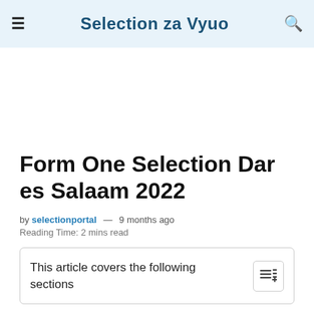Selection za Vyuo
Form One Selection Dar es Salaam 2022
by selectionportal — 9 months ago
Reading Time: 2 mins read
This article covers the following sections